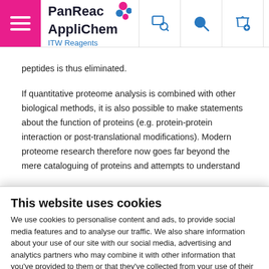PanReac AppliChem ITW Reagents — website header with navigation icons
peptides is thus eliminated.
If quantitative proteome analysis is combined with other biological methods, it is also possible to make statements about the function of proteins (e.g. protein-protein interaction or post-translational modifications). Modern proteome research therefore now goes far beyond the mere cataloguing of proteins and attempts to understand
This website uses cookies
We use cookies to personalise content and ads, to provide social media features and to analyse our traffic. We also share information about your use of our site with our social media, advertising and analytics partners who may combine it with other information that you've provided to them or that they've collected from your use of their services.
Allow selection
Allow all cookies
Necessary  Preferences  Statistics  Marketing  Show details